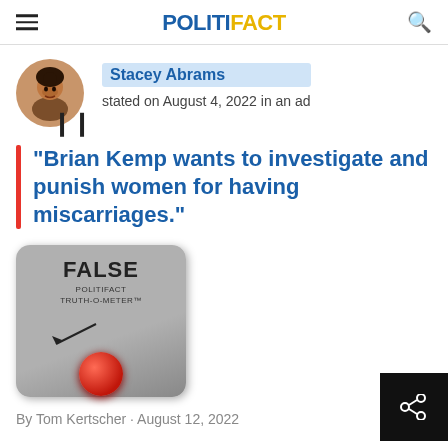POLITIFACT
Stacey Abrams stated on August 4, 2022 in an ad
"Brian Kemp wants to investigate and punish women for having miscarriages."
[Figure (illustration): PolitiFact Truth-O-Meter showing FALSE rating with red button at bottom left]
By Tom Kertscher · August 12, 2022